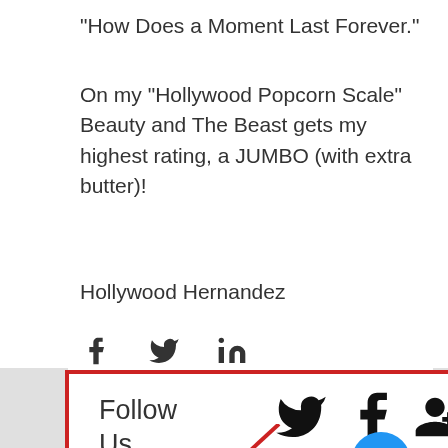"How Does a Moment Last Forever."
On my "Hollywood Popcorn Scale" Beauty and The Beast gets my highest rating, a JUMBO (with extra butter)!
Hollywood Hernandez
[Figure (infographic): Social media share icons: Facebook (f), Twitter (bird), LinkedIn (in)]
[Figure (infographic): Follow Us box with red border showing Twitter, Facebook, Google+ icons and a diagonal red line, plus a blue more/ellipsis button]